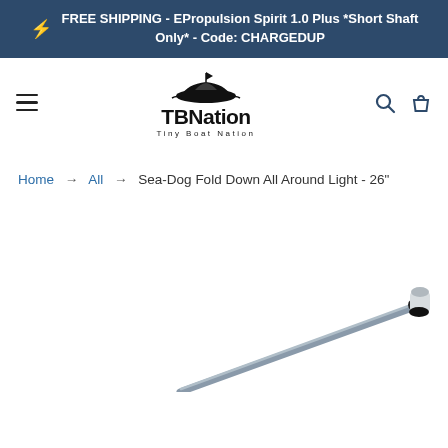FREE SHIPPING - EPropulsion Spirit 1.0 Plus *Short Shaft Only* - Code: CHARGEDUP
[Figure (logo): TBNation - Tiny Boat Nation logo with a boat silhouette above the text]
Home → All → Sea-Dog Fold Down All Around Light - 26"
[Figure (photo): Partial product photo of a Sea-Dog Fold Down All Around Light pole, showing the tip end with a white light cap on a silver/grey pole, appearing in the bottom-right corner]